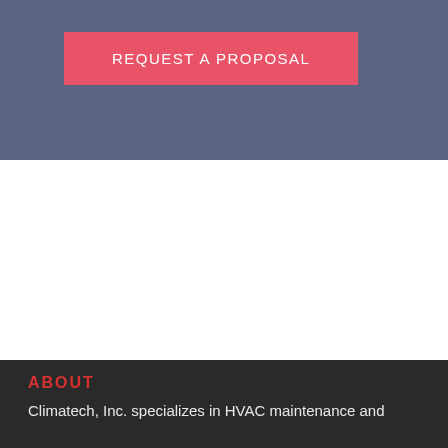[Figure (other): Blue-gray banner section with a red 'REQUEST A PROPOSAL' button]
[Figure (other): White empty section]
ABOUT
Climatech, Inc. specializes in HVAC maintenance and